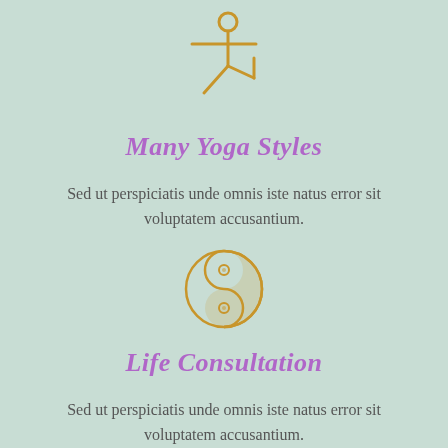[Figure (illustration): Golden/amber colored yoga warrior pose stick figure icon]
Many Yoga Styles
Sed ut perspiciatis unde omnis iste natus error sit voluptatem accusantium.
[Figure (illustration): Golden/amber colored yin yang symbol icon with dots]
Life Consultation
Sed ut perspiciatis unde omnis iste natus error sit voluptatem accusantium.